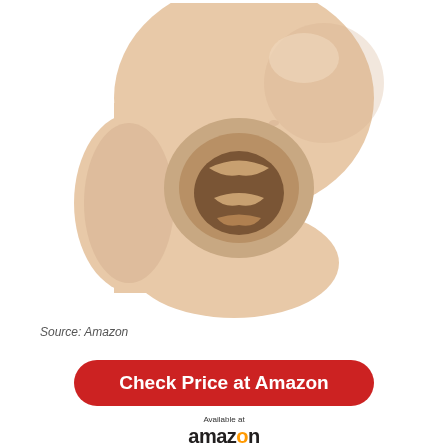[Figure (photo): Close-up product photo of a flesh-colored adult toy on white background, showing the opening end of a masturbator sleeve made of soft silicone material.]
Source: Amazon
Check Price at Amazon
[Figure (logo): Amazon logo with 'Available at' text above it]